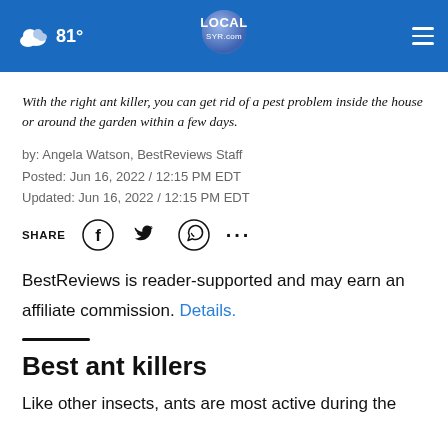81° LOCAL SYR.com
With the right ant killer, you can get rid of a pest problem inside the house or around the garden within a few days.
by: Angela Watson, BestReviews Staff
Posted: Jun 16, 2022 / 12:15 PM EDT
Updated: Jun 16, 2022 / 12:15 PM EDT
SHARE
BestReviews is reader-supported and may earn an affiliate commission. Details.
Best ant killers
Like other insects, ants are most active during the